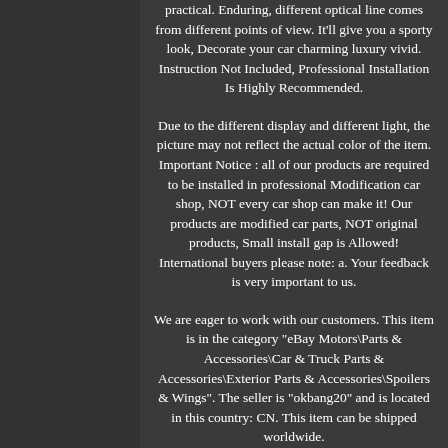practical. Enduring, different optical line comes from different points of view. It'll give you a sporty look, Decorate your car charming luxury vivid. Instruction Not Included, Professional Installation Is Highly Recommended.
Due to the different display and different light, the picture may not reflect the actual color of the item. Important Notice : all of our products are required to be installed in professional Modification car shop, NOT every car shop can make it! Our products are modified car parts, NOT original products, Small install gap is Allowed! International buyers please note: a. Your feedback is very important to us.
We are eager to work with our customers. This item is in the category "eBay Motors\Parts & Accessories\Car & Truck Parts & Accessories\Exterior Parts & Accessories\Spoilers & Wings". The seller is "okbang20" and is located in this country: CN. This item can be shipped worldwide.